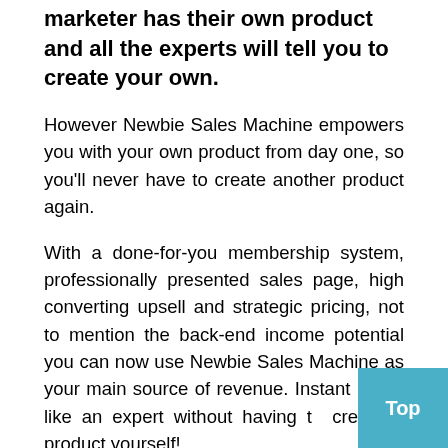marketer has their own product and all the experts will tell you to create your own.
However Newbie Sales Machine empowers you with your own product from day one, so you'll never have to create another product again.
With a done-for-you membership system, professionally presented sales page, high converting upsell and strategic pricing, not to mention the back-end income potential you can now use Newbie Sales Machine as your main source of revenue. Instantly look like an expert without having to create a product yourself!